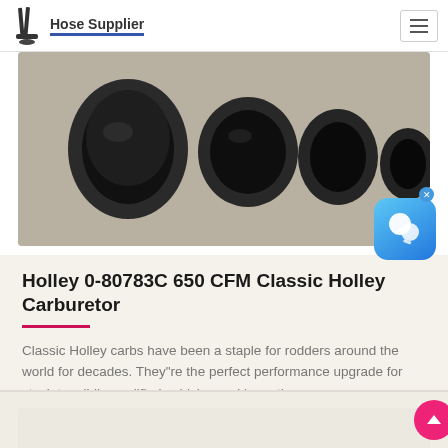Hose Supplier
[Figure (photo): Close-up photo of black rubber hoses/tubes of various sizes arranged together against a light background]
Holley 0-80783C 650 CFM Classic Holley Carburetor
Classic Holley carbs have been a staple for rodders around the world for decades. They"re the perfect performance upgrade for stock to mildly modified vehicles and have th...